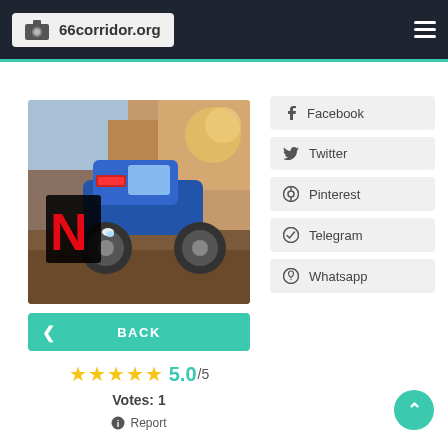66corridor.org
[Figure (screenshot): Screenshot of a mobile game showing a monster truck/off-road vehicle with Netflix logo overlay, set against rocky canyon terrain]
< BACK
★★★★★ 5.0/5
Votes: 1
Report
Facebook
Twitter
Pinterest
Telegram
Whatsapp